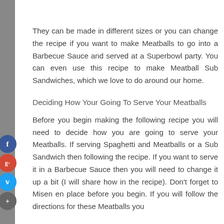They can be made in different sizes or you can change the recipe if you want to make Meatballs to go into a Barbecue Sauce and served at a Superbowl party. You can even use this recipe to make Meatball Sub Sandwiches, which we love to do around our home.
Deciding How Your Going To Serve Your Meatballs
Before you begin making the following recipe you will need to decide how you are going to serve your Meatballs. If serving Spaghetti and Meatballs or a Sub Sandwich then following the recipe. If you want to serve it in a Barbecue Sauce then you will need to change it up a bit (I will share how in the recipe). Don't forget to Misen en place before you begin. If you will follow the directions for these Meatballs you